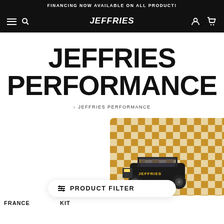FINANCING NOW AVAILABLE ON ALL PRODUCT!
[Figure (logo): Jeffries Performance logo in white on black navigation bar with hamburger menu, search icon, user icon, and cart icon]
JEFFRIES PERFORMANCE
> JEFFRIES PERFORMANCE
[Figure (screenshot): Product image showing an off-road vehicle/UTV on a checkered orange and beige background]
PRODUCT FILTER
FRANCE
KIT